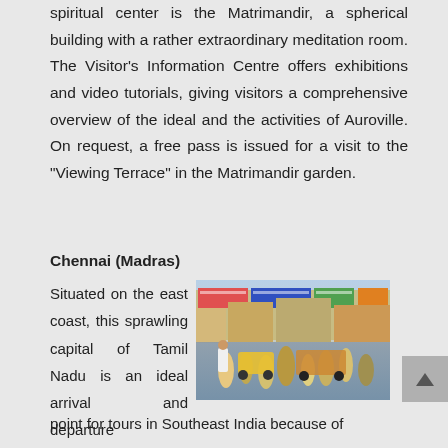spiritual center is the Matrimandir, a spherical building with a rather extraordinary meditation room. The Visitor's Information Centre offers exhibitions and video tutorials, giving visitors a comprehensive overview of the ideal and the activities of Auroville. On request, a free pass is issued for a visit to the "Viewing Terrace" in the Matrimandir garden.
Chennai (Madras)
Situated on the east coast, this sprawling capital of Tamil Nadu is an ideal arrival and departure point for tours in Southeast India because of
[Figure (photo): Busy street scene in Chennai (Madras) with auto-rickshaws, pedestrians, and colourful shop signs lining the road.]